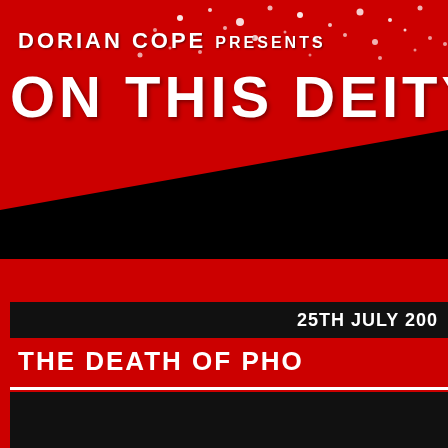DORIAN COPE PRESENTS ON THIS DEITY
25TH JULY 200
THE DEATH OF PHO